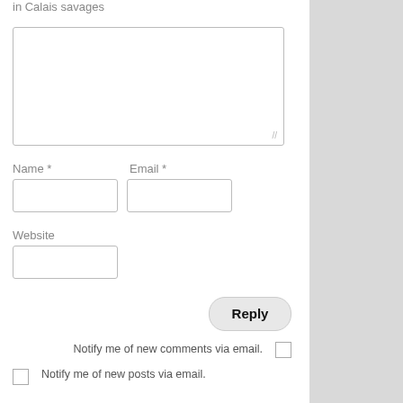in  Calais savages
[Figure (screenshot): Comment form with textarea, Name and Email fields, Website field, Reply button, and two checkboxes for email notification options]
Notify me of new comments via email.
Notify me of new posts via email.